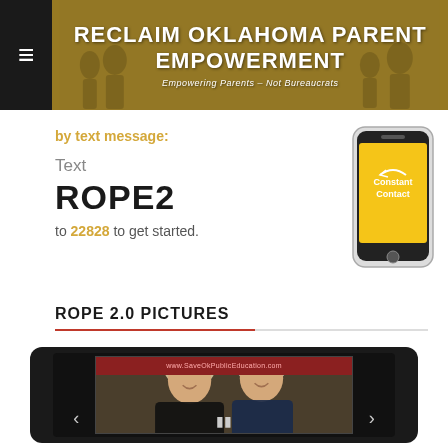RECLAIM OKLAHOMA PARENT EMPOWERMENT — Empowering Parents – Not Bureaucrats
by text message:
Text ROPE2 to 22828 to get started.
[Figure (photo): Smartphone with yellow Constant Contact screen]
ROPE 2.0 PICTURES
[Figure (photo): Photo slideshow/gallery showing two women smiling at what appears to be a convention or event, with a www.SaveOkPublicEducation banner visible in background. Navigation arrows and pause button visible at bottom.]